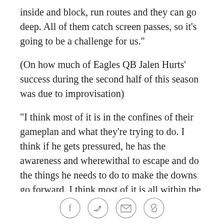inside and block, run routes and they can go deep. All of them catch screen passes, so it's going to be a challenge for us."
(On how much of Eagles QB Jalen Hurts' success during the second half of this season was due to improvisation)
"I think most of it is in the confines of their gameplan and what they're trying to do. I think if he gets pressured, he has the awareness and wherewithal to escape and do the things he needs to do to make the downs go forward. I think most of it is all within the gameplan, but he has an extra element to him if he needs it, and he pulls it out at the right time."
OFFENSIVE COORDINATOR BYRON LEFTWICH
social share icons: facebook, twitter, email, link